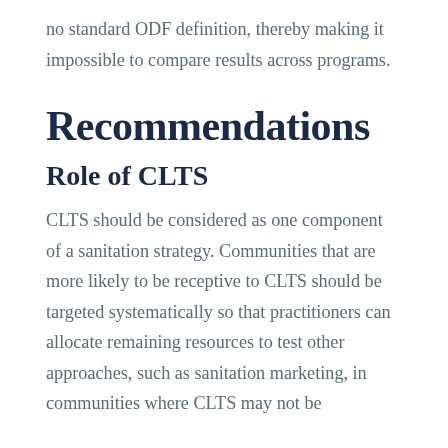no standard ODF definition, thereby making it impossible to compare results across programs.
Recommendations
Role of CLTS
CLTS should be considered as one component of a sanitation strategy. Communities that are more likely to be receptive to CLTS should be targeted systematically so that practitioners can allocate remaining resources to test other approaches, such as sanitation marketing, in communities where CLTS may not be